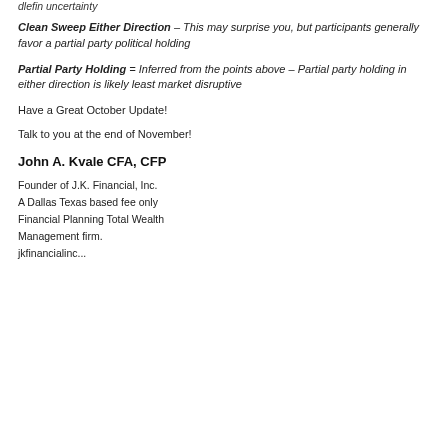dlefin uncertainty
Clean Sweep Either Direction – This may surprise you, but participants generally favor a partial party political holding
Partial Party Holding = Inferred from the points above – Partial party holding in either direction is likely least market disruptive
Have a Great October Update!
Talk to you at the end of November!
John A. Kvale CFA, CFP
Founder of J.K. Financial, Inc.
A Dallas Texas based fee only
Financial Planning Total Wealth
Management firm.
jkfinancialinc...